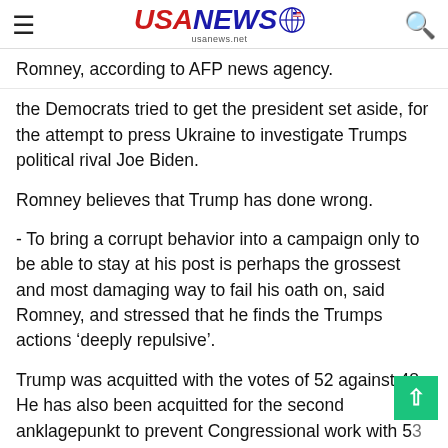USANEWS usanews.net
Romney, according to AFP news agency.
the Democrats tried to get the president set aside, for the attempt to press Ukraine to investigate Trumps political rival Joe Biden.
Romney believes that Trump has done wrong.
- To bring a corrupt behavior into a campaign only to be able to stay at his post is perhaps the grossest and most damaging way to fail his oath on, said Romney, and stressed that he finds the Trumps actions ‘deeply repulsive’.
Trump was acquitted with the votes of 52 against 48. He has also been acquitted for the second anklagepunkt to prevent Congressional work with 53 not guilty-votes - here voted all republicans with the